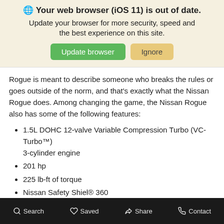[Figure (screenshot): Browser update notification banner with globe icon, bold text 'Your web browser (iOS 11) is out of date.' and subtitle 'Update your browser for more security, speed and the best experience on this site.' with green 'Update browser' button and tan 'Ignore' button.]
Rogue is meant to describe someone who breaks the rules or goes outside of the norm, and that's exactly what the Nissan Rogue does. Among changing the game, the Nissan Rogue also has some of the following features:
1.5L DOHC 12-valve Variable Compression Turbo (VC-Turbo™) 3-cylinder engine
201 hp
225 lb-ft of torque
Nissan Safety Shiel® 360
Apple CarPlay® and Android Auto™
Nissan Murano
The Nissan Murano gets its name from the city in Italy: Murano.
Search   Saved   Share   Contact